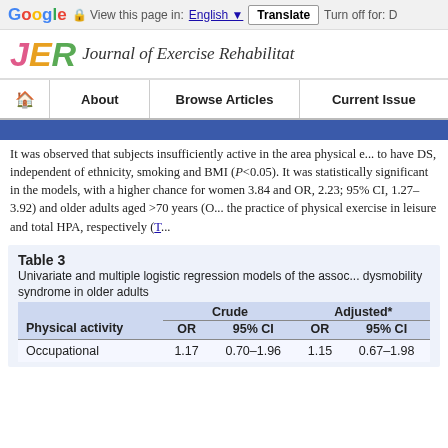Google | View this page in: English ▼ | Translate | Turn off for: D
JER Journal of Exercise Rehabilitat
🏠 About | Browse Articles | Current Issue
It was observed that subjects insufficiently active in the area physical e... to have DS, independent of ethnicity, smoking and BMI (P<0.05). It was statistically significant in the models, with a higher chance for women 3.84 and OR, 2.23; 95% CI, 1.27–3.92) and older adults aged >70 years (O... the practice of physical exercise in leisure and total HPA, respectively (T...
Table 3
Univariate and multiple logistic regression models of the assoc... dysmobility syndrome in older adults
| Physical activity | Crude OR | Crude 95% CI | Adjusted* OR | Adjusted* 95% CI |
| --- | --- | --- | --- | --- |
| Occupational | 1.17 | 0.70–1.96 | 1.15 | 0.67–1.98 |